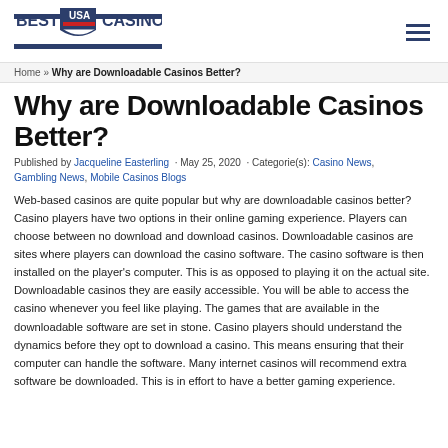[Figure (logo): Best USA Casino Sites logo with shield/flag emblem and blue horizontal bars]
Home » Why are Downloadable Casinos Better?
Why are Downloadable Casinos Better?
Published by Jacqueline Easterling · May 25, 2020 · Categorie(s): Casino News, Gambling News, Mobile Casinos Blogs
Web-based casinos are quite popular but why are downloadable casinos better? Casino players have two options in their online gaming experience. Players can choose between no download and download casinos. Downloadable casinos are sites where players can download the casino software. The casino software is then installed on the player's computer. This is as opposed to playing it on the actual site. Downloadable casinos they are easily accessible. You will be able to access the casino whenever you feel like playing. The games that are available in the downloadable software are set in stone. Casino players should understand the dynamics before they opt to download a casino. This means ensuring that their computer can handle the software. Many internet casinos will recommend extra software be downloaded. This is in effort to have a better gaming experience.